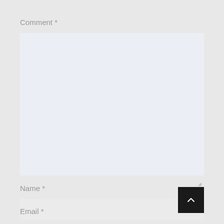Comment *
[Figure (other): Large empty comment textarea input field with light blue-gray background and resize handle in bottom right corner]
Name *
[Figure (other): Empty name input field with light gray background]
Email *
[Figure (other): Back to top button - dark square with white upward chevron arrow]